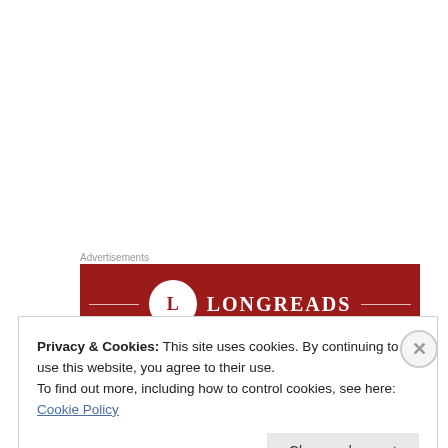Advertisements
[Figure (logo): Longreads logo banner — dark red background with circular L emblem and LONGREADS text in white serif font, flanked by horizontal decorative lines]
Privacy & Cookies: This site uses cookies. By continuing to use this website, you agree to their use.
To find out more, including how to control cookies, see here: Cookie Policy
Close and accept